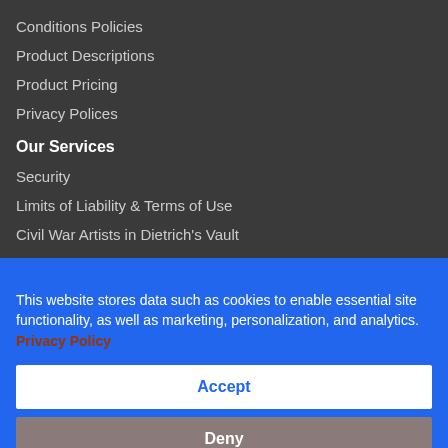Conditions Policies
Product Descriptions
Product Pricing
Privacy Polices
Our Services
Security
Limits of Liability & Terms of Use
Civil War Artists in Dietrich's Vault
This website stores data such as cookies to enable essential site functionality, as well as marketing, personalization, and analytics. Privacy Policy
Accept
Deny